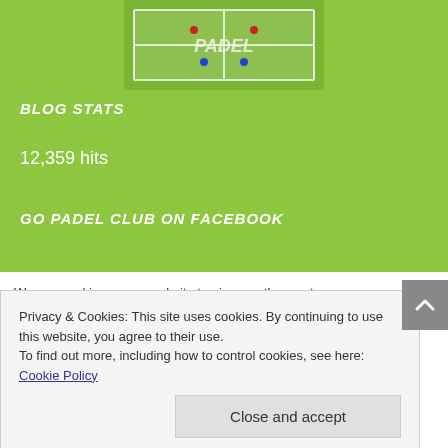[Figure (photo): Aerial or overhead photo of a padel court with players and 'PADEL' text visible on the court surface]
BLOG STATS
12,359 hits
GO PADEL CLUB ON FACEBOOK
We use cookies on our website to give you the most
Privacy & Cookies: This site uses cookies. By continuing to use this website, you agree to their use.
To find out more, including how to control cookies, see here: Cookie Policy
Close and accept